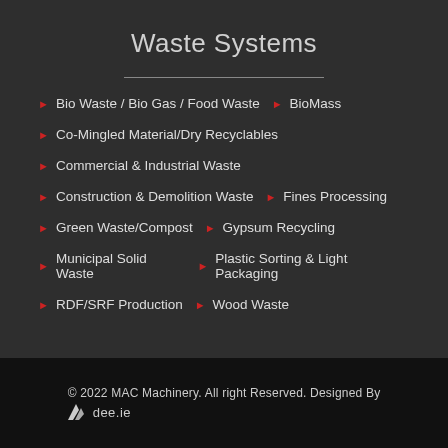Waste Systems
Bio Waste / Bio Gas / Food Waste  ▶  BioMass
Co-Mingled Material/Dry Recyclables
Commercial & Industrial Waste
Construction & Demolition Waste  ▶  Fines Processing
Green Waste/Compost  ▶  Gypsum Recycling
Municipal Solid Waste  ▶  Plastic Sorting & Light Packaging
RDF/SRF Production  ▶  Wood Waste
© 2022 MAC Machinery. All right Reserved. Designed By dee.ie